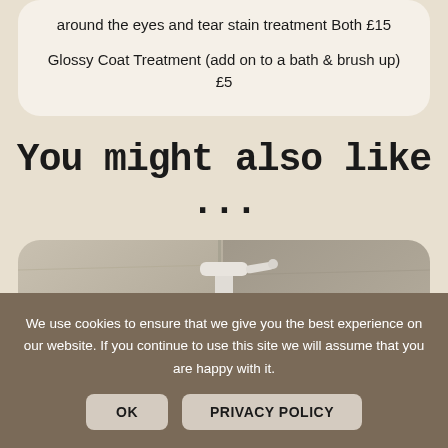around the eyes and tear stain treatment Both £15

Glossy Coat Treatment (add on to a bath & brush up) £5
You might also like ...
[Figure (photo): A pump bottle (likely a pet grooming product) against a grey/stone textured background]
We use cookies to ensure that we give you the best experience on our website. If you continue to use this site we will assume that you are happy with it.
OK   PRIVACY POLICY